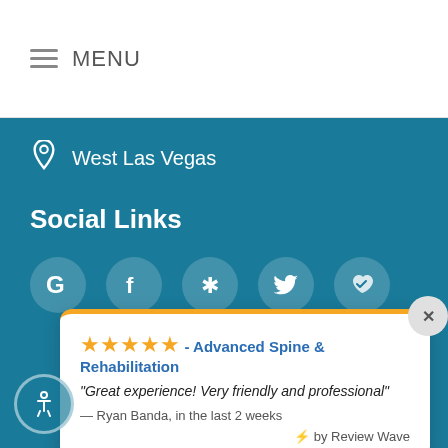MENU
West Las Vegas
Social Links
[Figure (other): Row of social media icon circles: Google, Facebook, Yelp, Twitter, and a heart/checkmark icon]
★★★★★ - Advanced Spine & Rehabilitation
“Great experience! Very friendly and professional”
— Ryan Banda, in the last 2 weeks
by Review Wave